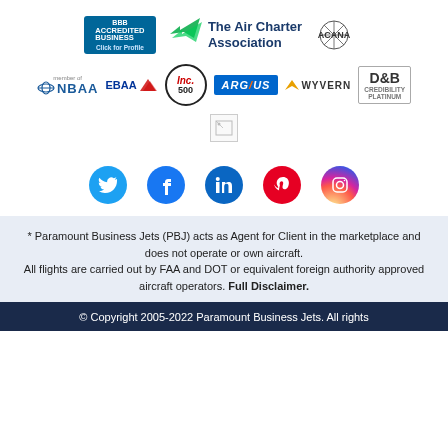[Figure (logo): Row of association logos: BBB Accredited Business, The Air Charter Association (ACA) with checkmark, ACANA]
[Figure (logo): Row of association logos: NBAA member, EBAA, Inc. 500, ARGUS, WYVERN, D&B Credibility Platinum]
[Figure (other): Small broken/loading image placeholder]
[Figure (infographic): Social media icons: Twitter, Facebook, LinkedIn, Pinterest, Instagram]
* Paramount Business Jets (PBJ) acts as Agent for Client in the marketplace and does not operate or own aircraft.
All flights are carried out by FAA and DOT or equivalent foreign authority approved aircraft operators. Full Disclaimer.
© Copyright 2005-2022 Paramount Business Jets. All rights